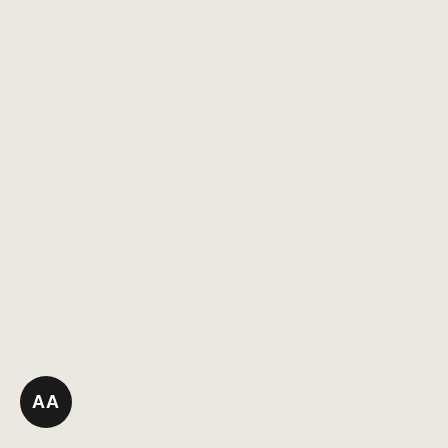| Location | Status |
| --- | --- |
| Blackhawk 139 | No C |
| Blackhawk 140 | No C |
| Blackhawk 141 | No C |
| Blackhawk 142 | No C |
| Blackhawk 143 | No C |
| Blackhawk 144 | No C |
| Blackhawk 145 | No C |
| Blackhawk 146 | No C |
| Blackhawk 147 | No C |
| Blackhawk 148 | No C |
| Blackhawk 149 | No C |
| Blackhawk 150 | No C |
| Blackhawk 151 | No C |
| Blackhawk 152 | No C |
| Blackhawk 153 | No C |
| Blackhawk 154 | No C |
| Blackhawk 155 | No C |
| Blackhawk 156 | No C |
| Blackhawk 157 | No C |
| Blackhawk 158 | No C |
| Blackhawk 159 | No C |
| Blackhawk 160 | No C |
| Blackhawk 161 | No C |
| Blackhawk 162 | No C |